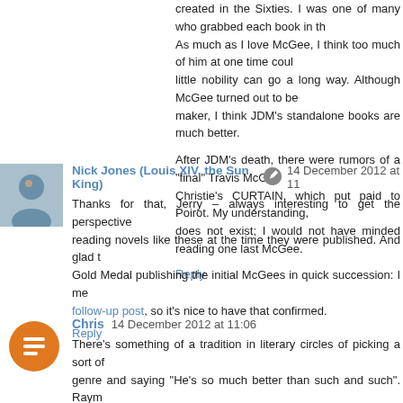created in the Sixties. I was one of many who grabbed each book in th... As much as I love McGee, I think too much of him at one time coul... little nobility can go a long way. Although McGee turned out to be... maker, I think JDM's standalone books are much better.
After JDM's death, there were rumors of a "final" Travis McGee... Christie's CURTAIN, which put paid to Poirot. My understanding,... does not exist; I would not have minded reading one last McGee.
Reply
Nick Jones (Louis XIV, the Sun King)  14 December 2012 at 11...
Thanks for that, Jerry – always interesting to get the perspective... reading novels like these at the time they were published. And glad t... Gold Medal publishing the initial McGees in quick succession: I me... follow-up post, so it's nice to have that confirmed.
Reply
Chris  14 December 2012 at 11:06
There's something of a tradition in literary circles of picking a sort of... genre and saying "He's so much better than such and such". Raym...